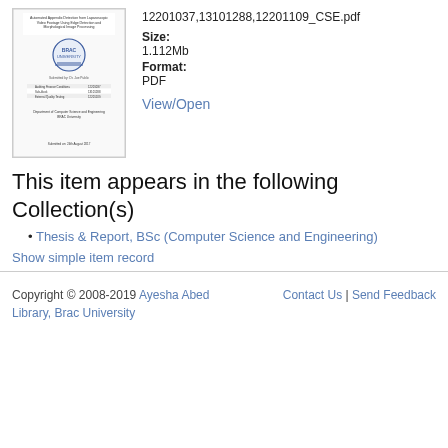[Figure (screenshot): Thumbnail of a BRAC University thesis cover page titled 'Automated Appendix Detection from Laparoscopic Video Footage Using Edge Detection and Morphological Image Processing']
12201037,13101288,12201109_CSE.pdf
Size: 1.112Mb
Format: PDF
View/Open
This item appears in the following Collection(s)
Thesis & Report, BSc (Computer Science and Engineering)
Show simple item record
Copyright © 2008-2019 Ayesha Abed Library, Brac University   Contact Us | Send Feedback